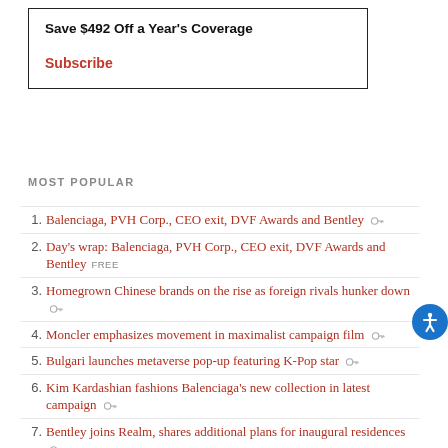Save $492 Off a Year's Coverage

Subscribe
MOST POPULAR
1. Balenciaga, PVH Corp., CEO exit, DVF Awards and Bentley
2. Day's wrap: Balenciaga, PVH Corp., CEO exit, DVF Awards and Bentley FREE
3. Homegrown Chinese brands on the rise as foreign rivals hunker down
4. Moncler emphasizes movement in maximalist campaign film
5. Bulgari launches metaverse pop-up featuring K-Pop star
6. Kim Kardashian fashions Balenciaga's new collection in latest campaign
7. Bentley joins Realm, shares additional plans for inaugural residences
8. Gucci, Kai spotlight fall-centric fashion in new effort